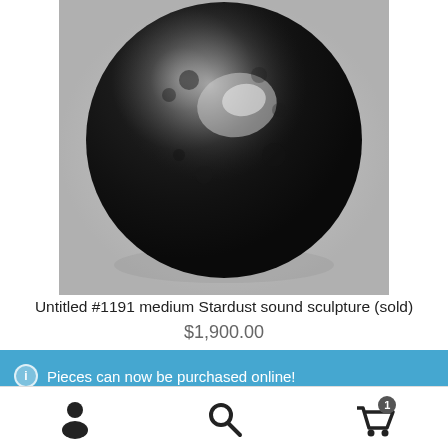[Figure (photo): A dark, nearly black spherical sculpture with a shiny, textured surface resembling a moon or rock, photographed against a light gray background.]
Untitled #1191 medium Stardust sound sculpture (sold)
$1,900.00
Pieces can now be purchased online!
Dismiss